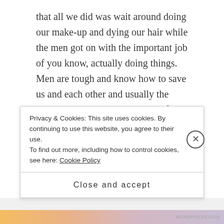that all we did was wait around doing our make-up and dying our hair while the men got on with the important job of you know, actually doing things. Men are tough and know how to save us and each other and usually the world; whereas women scream if anything gets a bit scary, are good at looking sexy when getting killed and oh yeah, specialise in looking scared and sexy and getting killed all at the same time (unless there’s a handy man around to save them that is). And despite the fact that there’s apparently a cinema in Sweden that has a new rating awarded to films that pass the
Privacy & Cookies: This site uses cookies. By continuing to use this website, you agree to their use.
To find out more, including how to control cookies, see here: Cookie Policy
Close and accept